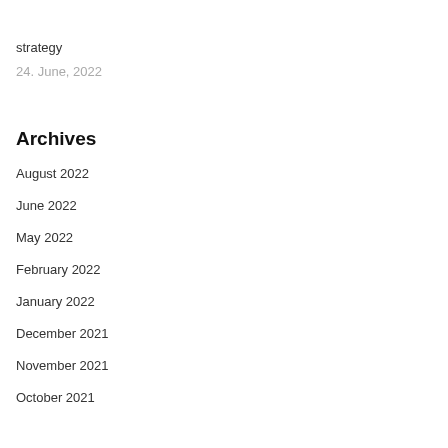strategy
24. June, 2022
Archives
August 2022
June 2022
May 2022
February 2022
January 2022
December 2021
November 2021
October 2021